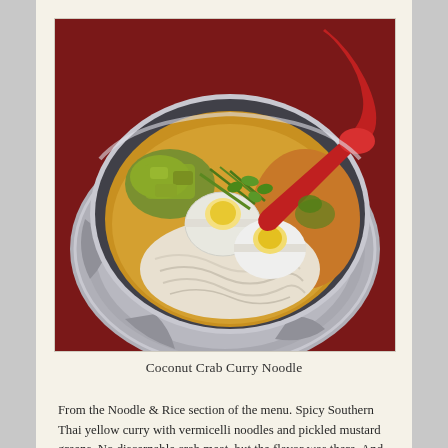[Figure (photo): A bowl of Coconut Crab Curry Noodle soup served in a metallic steel bowl on a decorative silver plate. The bowl contains rice vermicelli noodles, a halved hard-boiled egg, pickled mustard greens, green onions, cilantro, and a golden yellow curry broth. A red spoon rests on the rim of the bowl.]
Coconut Crab Curry Noodle
From the Noodle & Rice section of the menu. Spicy Southern Thai yellow curry with vermicelli noodles and pickled mustard greens. No discernable crab meat, but the flavor was there. And